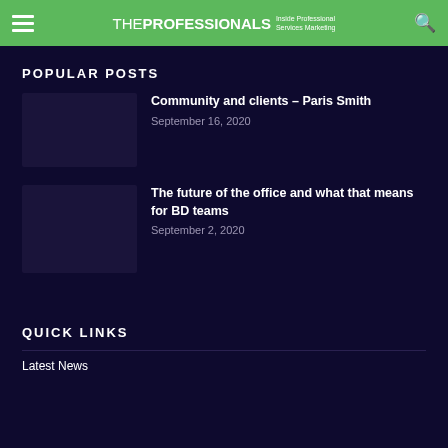THE PROFESSIONALS Inside Professional Services Marketing
POPULAR POSTS
Community and clients – Paris Smith
September 16, 2020
The future of the office and what that means for BD teams
September 2, 2020
QUICK LINKS
Latest News